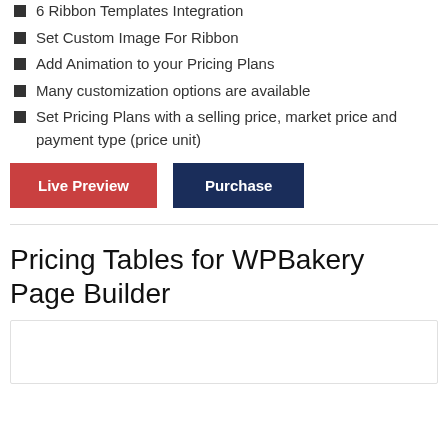6 Ribbon Templates Integration
Set Custom Image For Ribbon
Add Animation to your Pricing Plans
Many customization options are available
Set Pricing Plans with a selling price, market price and payment type (price unit)
[Figure (screenshot): Two buttons: 'Live Preview' (red) and 'Purchase' (dark navy blue)]
Pricing Tables for WPBakery Page Builder
[Figure (screenshot): Empty white box with light border, partial view]